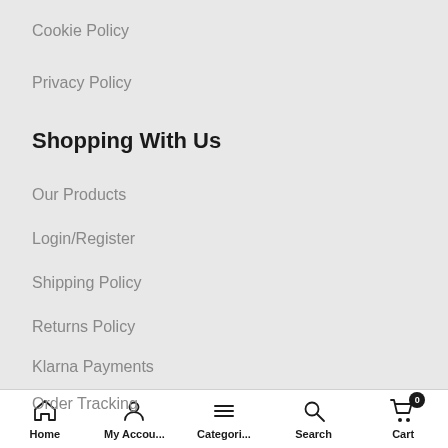Cookie Policy
Privacy Policy
Shopping With Us
Our Products
Login/Register
Shipping Policy
Returns Policy
Klarna Payments
Order Tracking
Customer Service
Home  My Accou...  Categori...  Search  Cart